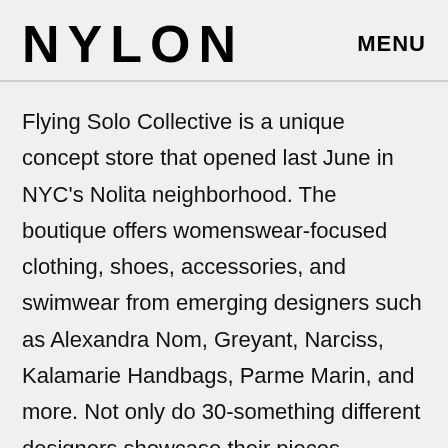NYLON   MENU
Flying Solo Collective is a unique concept store that opened last June in NYC’s Nolita neighborhood. The boutique offers womenswear-focused clothing, shoes, accessories, and swimwear from emerging designers such as Alexandra Nom, Greyant, Narciss, Kalamarie Handbags, Parme Marin, and more. Not only do 30-something different designers showcase their pieces alongside each other’s collections in one beautifully curated, direct-to-consumer experience, they all contribute a certain amount of their time per week to actually work in the store on